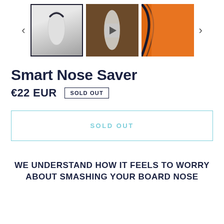[Figure (photo): Product image thumbnails strip with navigation arrows. Three thumbnail images: (1) selected - surfboard nose closeup with dark rubber nose guard, white/gray background, bordered in dark navy; (2) surfboard hanging on dark wood wall with play button overlay; (3) orange surfboard bag/cover closeup. Left and right arrow navigation buttons on sides.]
Smart Nose Saver
€22 EUR   SOLD OUT
SOLD OUT
WE UNDERSTAND HOW IT FEELS TO WORRY ABOUT SMASHING YOUR BOARD NOSE